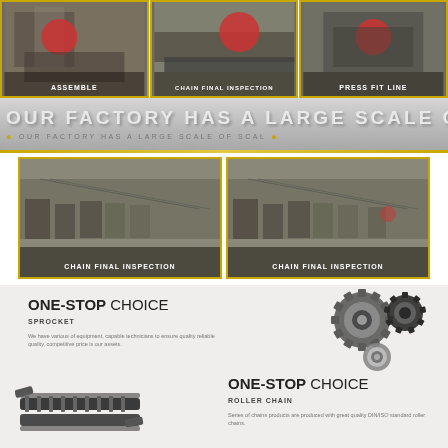[Figure (photo): Three factory workshop photos showing workers in red shirts: Assemble, Chain Final Inspection, Press Fit Line]
ASSEMBLE | CHAIN FINAL INSPECTION | PRESS FIT LINE
OUR FACTORY HAS A LARGE SCALE OF SCA
OUR FACTORY HAS A LARGE SCALE OF SCAL
[Figure (photo): Two large factory floor photos showing rows of machinery - Chain Final Inspection]
CHAIN FINAL INSPECTION | CHAIN FINAL INSPECTION
ONE-STOP CHOICE
SPROCKET
We have various of equipment, capable technicians to ensure quality reliable quality, competitive price is our assets.
[Figure (photo): Sprocket gears and a bearing component product photo]
[Figure (photo): Roller chain product photo]
ONE-STOP CHOICE
ROLLER CHAIN
Series of chains products are produced with great quality DIN/ISO standard roller chains.